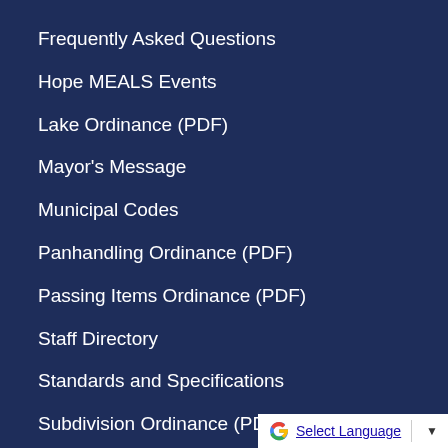Frequently Asked Questions
Hope MEALS Events
Lake Ordinance (PDF)
Mayor's Message
Municipal Codes
Panhandling Ordinance (PDF)
Passing Items Ordinance (PDF)
Staff Directory
Standards and Specifications
Subdivision Ordinance (PDF)
Select Language